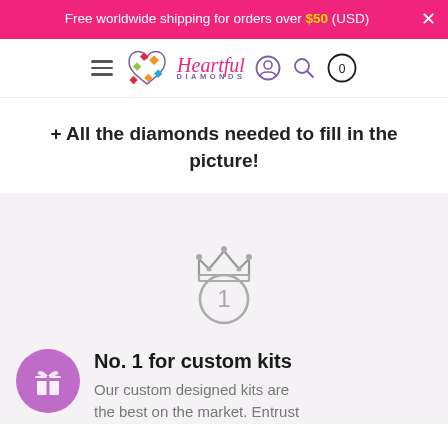Free worldwide shipping for orders over $50 (USD)
[Figure (logo): Heartful Diamonds logo with colorful diamond heart and purple/pink script text]
+ All the diamonds needed to fill in the picture!
[Figure (illustration): Number 1 medal icon with crown, drawn in gray outline style]
No. 1 for custom kits
Our custom designed kits are the best on the market. Entrust